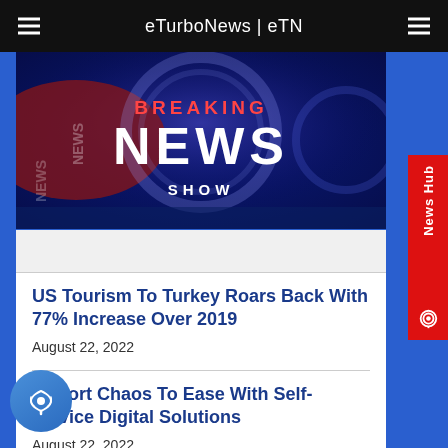eTurboNews | eTN
[Figure (photo): Breaking News Show graphic with dark blue and red background, large text reading BREAKING NEWS SHOW]
US Tourism To Turkey Roars Back With 77% Increase Over 2019
August 22, 2022
Airport Chaos To Ease With Self-service Digital Solutions
August 22, 2022